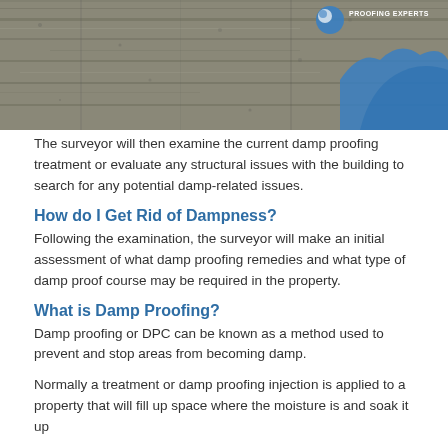[Figure (photo): Photo of a concrete wall with blue water/damp splash on the right side, with a 'Proofing Experts' logo in the top right corner]
The surveyor will then examine the current damp proofing treatment or evaluate any structural issues with the building to search for any potential damp-related issues.
How do I Get Rid of Dampness?
Following the examination, the surveyor will make an initial assessment of what damp proofing remedies and what type of damp proof course may be required in the property.
What is Damp Proofing?
Damp proofing or DPC can be known as a method used to prevent and stop areas from becoming damp.
Normally a treatment or damp proofing injection is applied to a property that will fill up space where the moisture is and soak it up